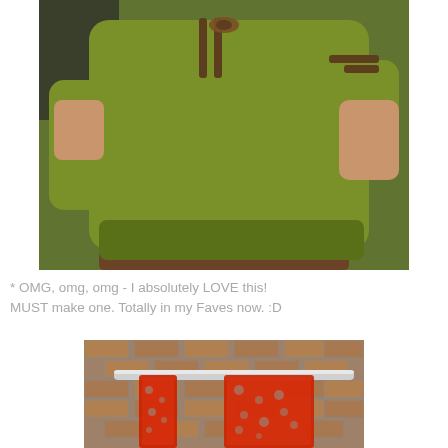[Figure (photo): A person wearing a green knitted/crocheted shrug/bolero sweater with brown ribbon ties at the neck and sides, photographed outdoors with greenery in the background.]
* OMG, omg, omg - I absolutely LOVE this! MUST make one. Totally in my Faves now. :D
[Figure (photo): A red lace knitted scarf or shawl draped over a metal railing against a brick wall background.]